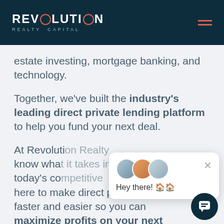REVOLUTION REALTY CAPITAL
estate investing, mortgage banking, and technology.
Together, we've built the industry's leading direct private lending platform to help you fund your next deal.
At Revolution Realty [Capital], know what [it takes to succeed in] today's competitive [market]. here to make direct private lending faster and easier so you can maximize profits on your next
[Figure (screenshot): Chat popup widget showing avatars and greeting 'Hey there! 🏠🏠' with a close button, and a dark circular chat button icon in the bottom right.]